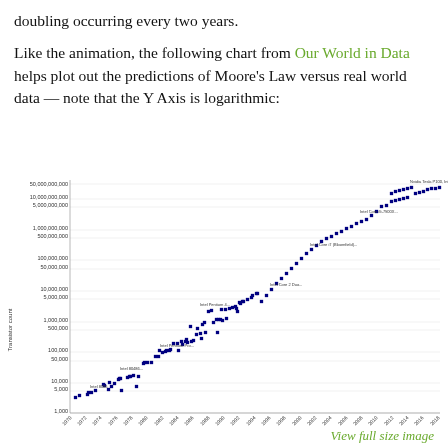doubling occurring every two years.
Like the animation, the following chart from Our World in Data helps plot out the predictions of Moore's Law versus real world data — note that the Y Axis is logarithmic:
[Figure (scatter-plot): Logarithmic scatter plot showing transistor count of various microprocessors from 1970 to 2018, demonstrating Moore's Law doubling trend. Y-axis ranges from 1,000 to 50,000,000,000 on a log scale. Data points are labeled with processor names.]
View full size image